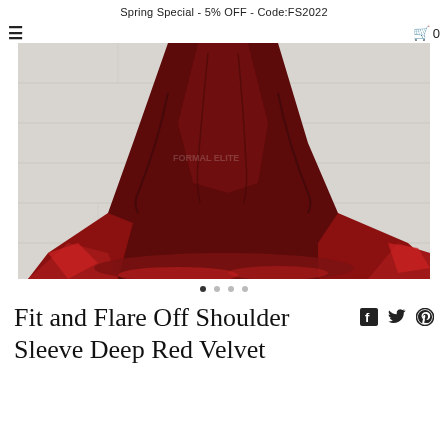Spring Special - 5% OFF - Code:FS2022
[Figure (photo): Product photo of a deep red velvet dress with a dramatic flared train laid out on a light wood floor. The dress skirt and train are visible from the waist down, showing rich dark red to bright red velvet fabric pooling on the floor.]
Fit and Flare Off Shoulder Sleeve Deep Red Velvet